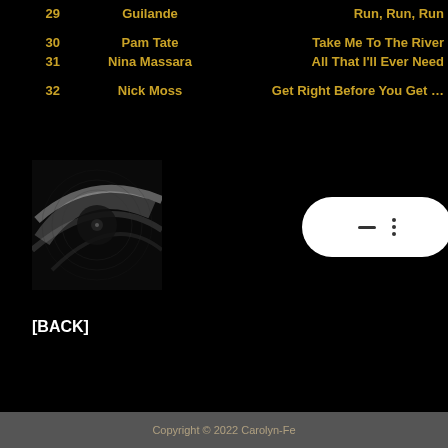29   Guilande   Run, Run, Run
30   Pam Tate   Take Me To The River
31   Nina Massara   All That I'll Ever Need
32   Nick Moss   Get Right Before You Get...
[Figure (photo): Black and white close-up photograph of a vinyl record or turntable needle]
[Figure (other): White rounded pill-shaped UI control with a dash and three dots]
[BACK]
Copyright © 2022 Carolyn-Fe